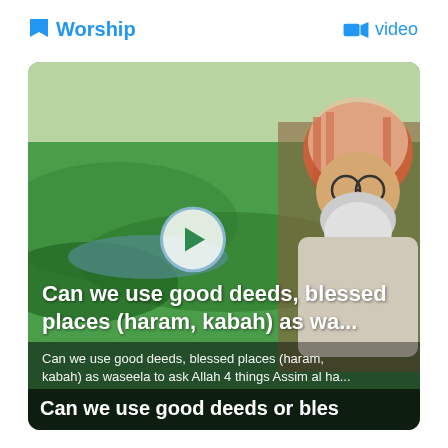Worship
video
[Figure (photo): Video thumbnail showing a religious scholar wearing a red and white headdress and glasses, set against a green landscape background. A play button is overlaid on the center of the image. The thumbnail includes a bold white title 'Can we use good deeds, blessed places (haram, kabah) as wa...' and a subtitle 'Can we use good deeds, blessed places (haram, kabah) as waseela to ask Allah 4 things Assim al ha...' with a bottom caption bar reading 'Can we use good deeds or bles']